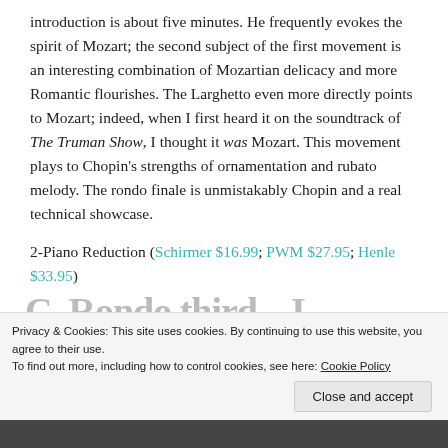introduction is about five minutes. He frequently evokes the spirit of Mozart; the second subject of the first movement is an interesting combination of Mozartian delicacy and more Romantic flourishes. The Larghetto even more directly points to Mozart; indeed, when I first heard it on the soundtrack of The Truman Show, I thought it was Mozart. This movement plays to Chopin's strengths of ornamentation and rubato melody. The rondo finale is unmistakably Chopin and a real technical showcase.
2-Piano Reduction (Schirmer $16.99; PWM $27.95; Henle $33.95)
C. Rondo third... [partially visible]
Privacy & Cookies: This site uses cookies. By continuing to use this website, you agree to their use.
To find out more, including how to control cookies, see here: Cookie Policy